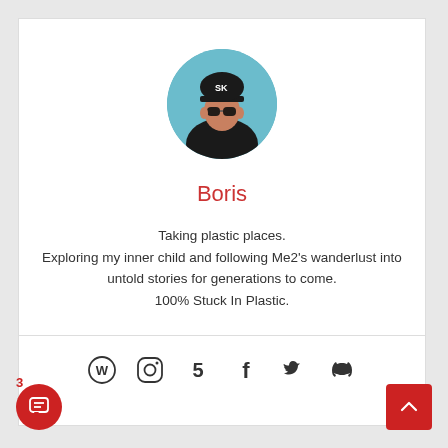[Figure (photo): Circular avatar photo of a person wearing sunglasses and a cap, with teal/blue background]
Boris
Taking plastic places.
Exploring my inner child and following Me2's wanderlust into untold stories for generations to come.
100% Stuck In Plastic.
[Figure (infographic): Row of social media icons: WordPress, Instagram, 500px/Behance, Facebook, Twitter, Discord]
3